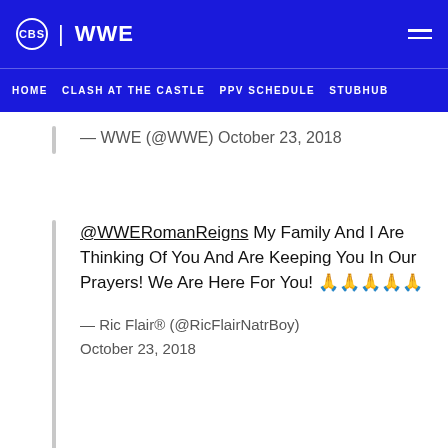CBS | WWE
HOME  CLASH AT THE CASTLE  PPV SCHEDULE  STUBHUB
— WWE (@WWE) October 23, 2018
@WWERomanReigns My Family And I Are Thinking Of You And Are Keeping You In Our Prayers! We Are Here For You! 🙏🙏🙏🙏🙏
— Ric Flair® (@RicFlairNatrBoy) October 23, 2018